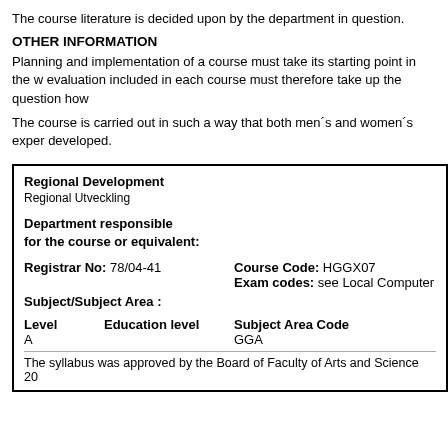The course literature is decided upon by the department in question.
OTHER INFORMATION
Planning and implementation of a course must take its starting point in the w evaluation included in each course must therefore take up the question how
The course is carried out in such a way that both men´s and women´s exper developed.
| Regional Development |  |  |
| Regional Utveckling |  |  |
| Department responsible for the course or equivalent: |  |  |
| Registrar No: 78/04-41 | Course Code: HGGX07 |  |
|  | Exam codes: see Local Computer |  |
| Subject/Subject Area : |  |  |
| Level | Education level | Subject Area Code |
| A |  | GGA |
| The syllabus was approved by the Board of Faculty of Arts and Science 20 |  |  |